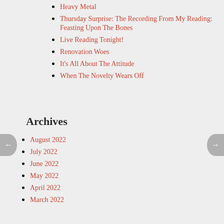Heavy Metal
Thursday Surprise: The Recording From My Reading: Feasting Upon The Bones
Live Reading Tonight!
Renovation Woes
It's All About The Attitude
When The Novelty Wears Off
Archives
August 2022
July 2022
June 2022
May 2022
April 2022
March 2022